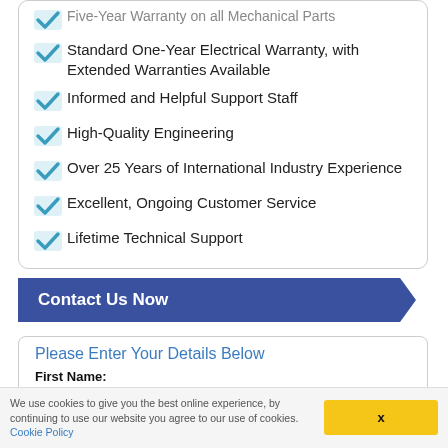Five-Year Warranty on all Mechanical Parts (partial, cropped at top)
Standard One-Year Electrical Warranty, with Extended Warranties Available
Informed and Helpful Support Staff
High-Quality Engineering
Over 25 Years of International Industry Experience
Excellent, Ongoing Customer Service
Lifetime Technical Support
Contact Us Now
Please Enter Your Details Below
First Name:
We use cookies to give you the best online experience, by continuing to use our website you agree to our use of cookies. Cookie Policy